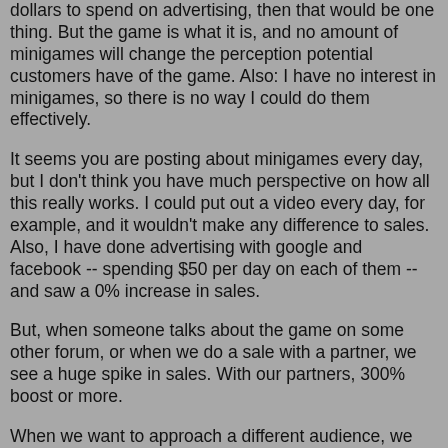dollars to spend on advertising, then that would be one thing. But the game is what it is, and no amount of minigames will change the perception potential customers have of the game. Also: I have no interest in minigames, so there is no way I could do them effectively.
It seems you are posting about minigames every day, but I don't think you have much perspective on how all this really works. I could put out a video every day, for example, and it wouldn't make any difference to sales. Also, I have done advertising with google and facebook -- spending $50 per day on each of them -- and saw a 0% increase in sales.
But, when someone talks about the game on some other forum, or when we do a sale with a partner, we see a huge spike in sales. With our partners, 300% boost or more.
When we want to approach a different audience, we will make a different game, not try to make this game something that is so broad in appeal that it loses all identity. In fact, that is what we are doing with Tidalis and Alden Ridge and all the rest we have planned.
Regarding advertising, for AI War, for whatever reason, it does not work. People don't want to hear about he game from me, they want to hear it from the forums, or communities, about the game. And that